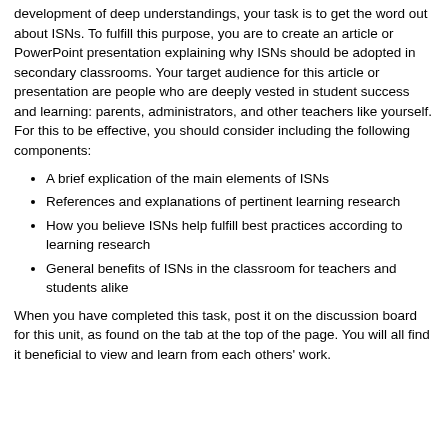development of deep understandings, your task is to get the word out about ISNs. To fulfill this purpose, you are to create an article or PowerPoint presentation explaining why ISNs should be adopted in secondary classrooms. Your target audience for this article or presentation are people who are deeply vested in student success and learning: parents, administrators, and other teachers like yourself. For this to be effective, you should consider including the following components:
A brief explication of the main elements of ISNs
References and explanations of pertinent learning research
How you believe ISNs help fulfill best practices according to learning research
General benefits of ISNs in the classroom for teachers and students alike
When you have completed this task, post it on the discussion board for this unit, as found on the tab at the top of the page. You will all find it beneficial to view and learn from each others' work.